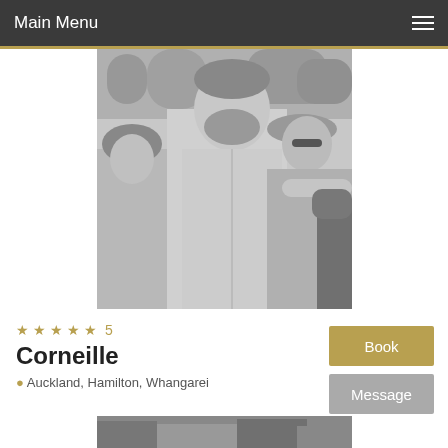Main Menu
[Figure (photo): Black and white photo of a shirtless bearded man outdoors with other people, appearing to touch an elephant]
★★★★★  5
Corneille
Auckland, Hamilton, Whangarei
[Figure (photo): Partially visible photo at the bottom of the page]